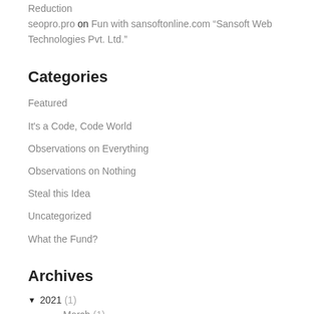Reduction
seopro.pro on Fun with sansoftonline.com “Sansoft Web Technologies Pvt. Ltd.”
Categories
Featured
It's a Code, Code World
Observations on Everything
Observations on Nothing
Steal this Idea
Uncategorized
What the Fund?
Archives
▼ 2021 (1)
March (1)
► 2020 (2)